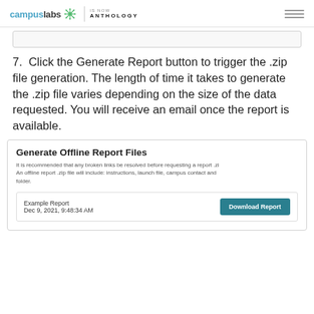campuslabs IS NOW ANTHOLOGY
[Figure (screenshot): Partial screenshot of a form or UI element at top of content area]
7.  Click the Generate Report button to trigger the .zip file generation. The length of time it takes to generate the .zip file varies depending on the size of the data requested. You will receive an email once the report is available.
[Figure (screenshot): Generate Offline Report Files card showing title, description text about broken links and zip file contents, and an example report row with Download Report button. Report: Example Report, Dec 9, 2021, 9:48:34 AM]